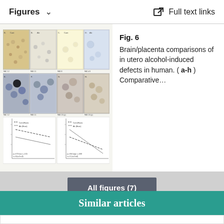Figures   ∨   Full text links
[Figure (photo): Microscopy/histology figure panel (Fig. 6) showing brain and placenta tissue comparisons with scatter plots at bottom, grid of labeled panels a-h]
Fig. 6 Brain/placenta comparisons of in utero alcohol-induced defects in human. ( a-h ) Comparative...
All figures (7)
Similar articles